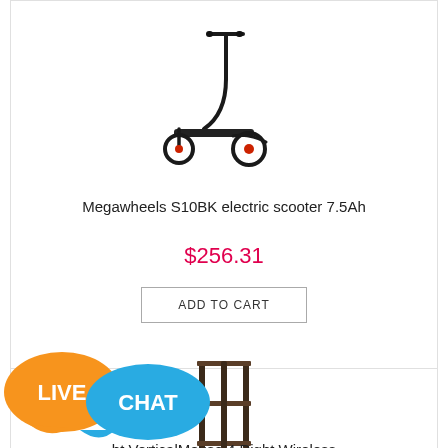[Figure (photo): Black electric scooter - Megawheels S10BK]
Megawheels S10BK electric scooter 7.5Ah
$256.31
ADD TO CART
[Figure (photo): Dark brown corner shelf unit with 3 tiers]
ht VerticalMouse 4 Right Wireless
[Figure (other): Live Chat button overlay in bottom left corner]